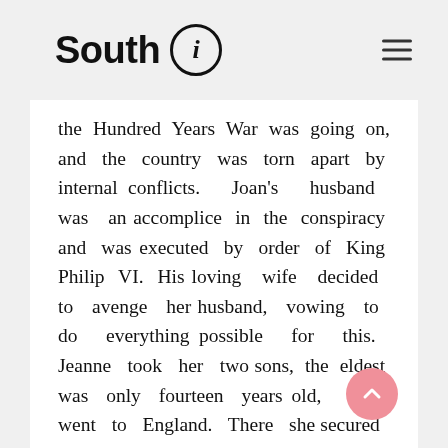South i
the Hundred Years War was going on, and the country was torn apart by internal conflicts. Joan's husband was an accomplice in the conspiracy and was executed by order of King Philip VI. His loving wife decided to avenge her husband, vowing to do everything possible for this. Jeanne took her two sons, the eldest was only fourteen years old, and went to England. There she secured an audience with King Edward III. The monarch provided the avenger with a small fleet of three ships, he received the name "Fleet of Retribution in the English Channel." For several years this small flotilla plundered merchant